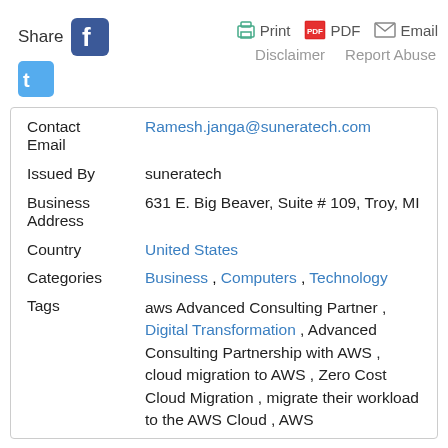Share  Print  PDF  Email  Disclaimer  Report Abuse
| Field | Value |
| --- | --- |
| Contact Email | Ramesh.janga@suneratech.com |
| Issued By | suneratech |
| Business Address | 631 E. Big Beaver, Suite # 109, Troy, MI |
| Country | United States |
| Categories | Business , Computers , Technology |
| Tags | aws Advanced Consulting Partner , Digital Transformation , Advanced Consulting Partnership with AWS , cloud migration to AWS , Zero Cost Cloud Migration , migrate their workload to the AWS Cloud , AWS |